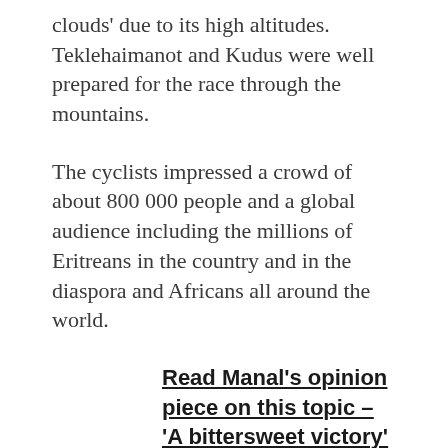clouds' due to its high altitudes. Teklehaimanot and Kudus were well prepared for the race through the mountains.
The cyclists impressed a crowd of about 800 000 people and a global audience including the millions of Eritreans in the country and in the diaspora and Africans all around the world.
Read Manal's opinion piece on this topic – 'A bittersweet victory'